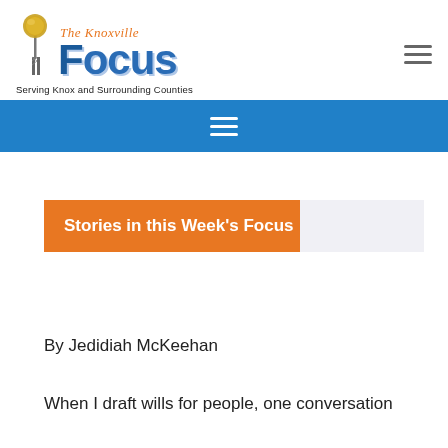[Figure (logo): The Knoxville Focus newspaper logo with Sunsphere tower icon, 'The Knoxville' in orange italic script above 'FOCUS' in large blue bold letters, and tagline 'Serving Knox and Surrounding Counties']
[Figure (other): Hamburger menu icon (three horizontal lines) in top right corner]
[Figure (other): Blue navigation bar with white hamburger menu icon (three horizontal lines) centered]
Stories in this Week's Focus
By Jedidiah McKeehan
When I draft wills for people, one conversation